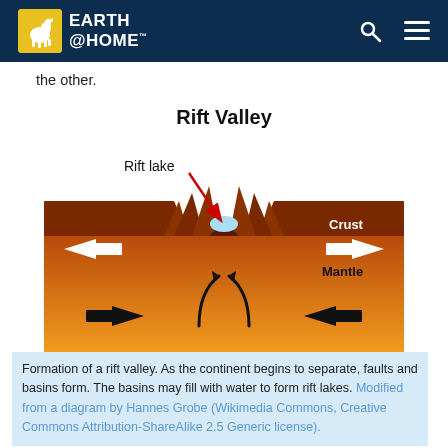EARTH @HOME
the other.
[Figure (illustration): Diagram showing formation of a Rift Valley with labeled rift lake, crust, mantle, arrows showing plates separating, and mantle upwelling.]
Formation of a rift valley. As the continent begins to separate, faults and basins form. The basins may fill with water to form rift lakes. Modified from a diagram by Hannes Grobe (Wikimedia Commons, Creative Commons Attribution-ShareAlike 2.5 Generic license).